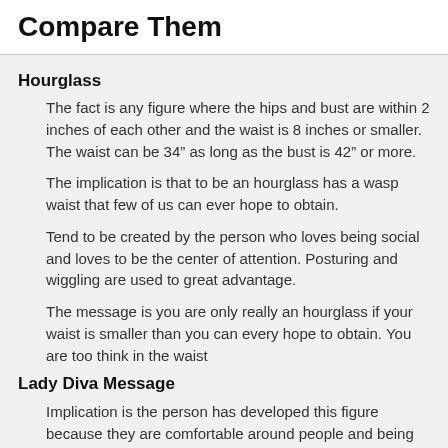Compare Them
Hourglass
The fact is any figure where the hips and bust are within 2 inches of each other and the waist is 8 inches or smaller. The waist can be 34” as long as the bust is 42” or more.
The implication is that to be an hourglass has a wasp waist that few of us can ever hope to obtain.
Tend to be created by the person who loves being social and loves to be the center of attention. Posturing and wiggling are used to great advantage.
The message is you are only really an hourglass if your waist is smaller than you can every hope to obtain. You are too think in the waist
Lady Diva Message
Implication is the person has developed this figure because they are comfortable around people and being the center of attention. Posturing and wiggling hips are part of the personality